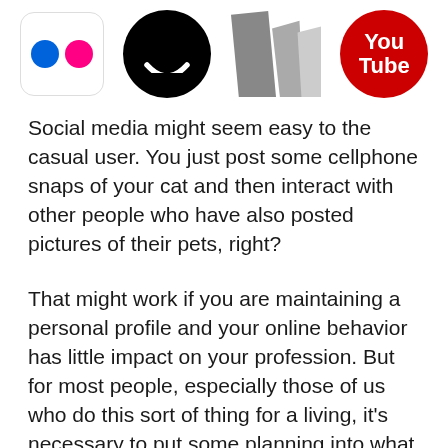[Figure (illustration): Four social media platform icons in a row: Flickr (white rounded square with blue and pink dots), Ello (black circle with white smile), Medium (gray overlapping M shape), YouTube (red circle with white You Tube text)]
Social media might seem easy to the casual user. You just post some cellphone snaps of your cat and then interact with other people who have also posted pictures of their pets, right?
That might work if you are maintaining a personal profile and your online behavior has little impact on your profession. But for most people, especially those of us who do this sort of thing for a living, it's necessary to put some planning into what you post. And if you do have the responsibility of posting professionally, whether for your company or your clients, then you definitely need to create a content strategy for social digital...